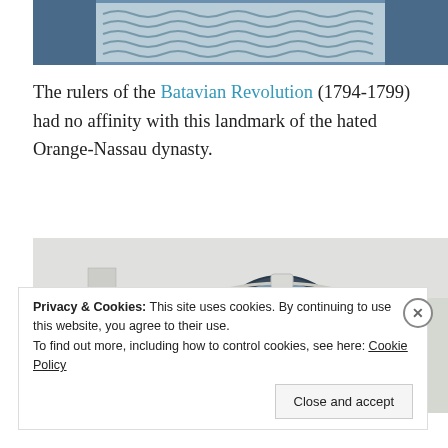[Figure (photo): Partial view of a building facade with decorative wave-patterned grille panel, bluish tones]
The rulers of the Batavian Revolution (1794-1799) had no affinity with this landmark of the hated Orange-Nassau dynasty.
[Figure (photo): Architectural detail of a building showing a circular/oval window with dark metal mullions, ornate white stone facade with decorative corbel on the left]
Privacy & Cookies: This site uses cookies. By continuing to use this website, you agree to their use.
To find out more, including how to control cookies, see here: Cookie Policy

Close and accept